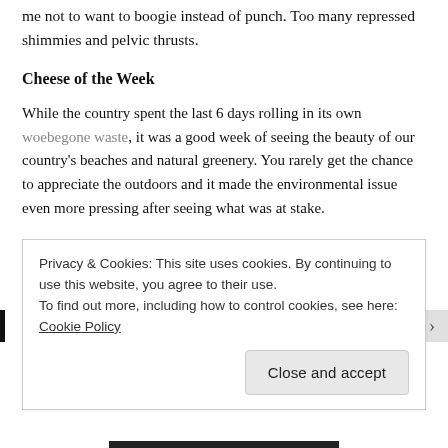me not to want to boogie instead of punch. Too many repressed shimmies and pelvic thrusts.
Cheese of the Week
While the country spent the last 6 days rolling in its own woebegone waste, it was a good week of seeing the beauty of our country's beaches and natural greenery. You rarely get the chance to appreciate the outdoors and it made the environmental issue even more pressing after seeing what was at stake.
All I know is, after this marathon of seafood and celebrations, this last week of July is going to be a killer. Take it away, work it kitty.
Privacy & Cookies: This site uses cookies. By continuing to use this website, you agree to their use.
To find out more, including how to control cookies, see here: Cookie Policy
Close and accept